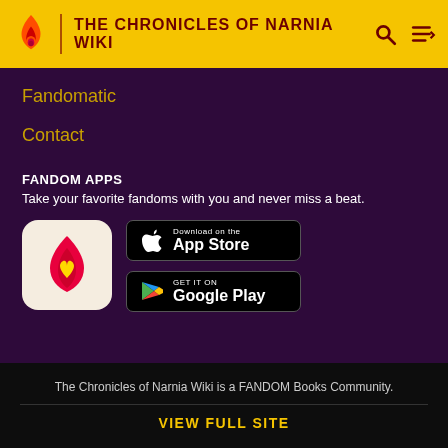THE CHRONICLES OF NARNIA WIKI
Fandomatic
Contact
FANDOM APPS
Take your favorite fandoms with you and never miss a beat.
[Figure (logo): Fandom app icon: red/pink flame with yellow heart on beige background]
[Figure (logo): Download on the App Store button]
[Figure (logo): GET IT ON Google Play button]
The Chronicles of Narnia Wiki is a FANDOM Books Community.
VIEW FULL SITE